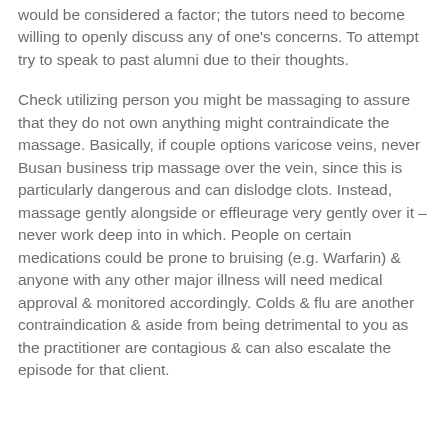would be considered a factor; the tutors need to become willing to openly discuss any of one's concerns. To attempt try to speak to past alumni due to their thoughts.
Check utilizing person you might be massaging to assure that they do not own anything might contraindicate the massage. Basically, if couple options varicose veins, never Busan business trip massage over the vein, since this is particularly dangerous and can dislodge clots. Instead, massage gently alongside or effleurage very gently over it – never work deep into in which. People on certain medications could be prone to bruising (e.g. Warfarin) & anyone with any other major illness will need medical approval & monitored accordingly. Colds & flu are another contraindication & aside from being detrimental to you as the practitioner are contagious & can also escalate the episode for that client.